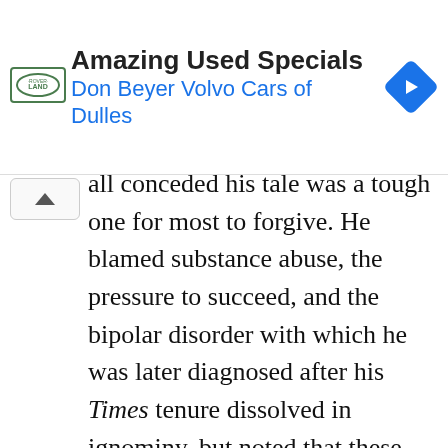[Figure (advertisement): Land Rover and Volvo car dealership advertisement banner reading 'Amazing Used Specials' and 'Don Beyer Volvo Cars of Dulles' with a Land Rover logo on the left and a blue navigation arrow diamond icon on the right.]
all conceded his tale was a tough one for most to forgive. He blamed substance abuse, the pressure to succeed, and the bipolar disorder with which he was later diagnosed after his Times tenure dissolved in ignominy, but noted that these were, in the end, insufficient factors. "Even though I do explain what's going on with me and, you know, what was going on with me during the time in my book, an important thing to remember is that ultimately I was never so impaired that I didn't understand the difference between right and...